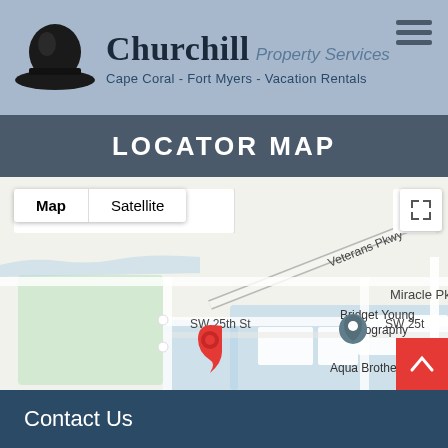[Figure (logo): Churchill Property Services logo with bowler hat icon, company name, and tagline 'Cape Coral - Fort Myers - Vacation Rentals']
LOCATOR MAP
[Figure (map): Google Maps locator map showing the location of Churchill Property Services near Veterans Pkwy and Miracle Pkwy in Cape Coral, with a red map pin marker. Shows nearby landmarks: Bridget Young Photography on SW 25th St, and Aqua Brothers. Map controls show Map/Satellite toggle and fullscreen button.]
Contact Us